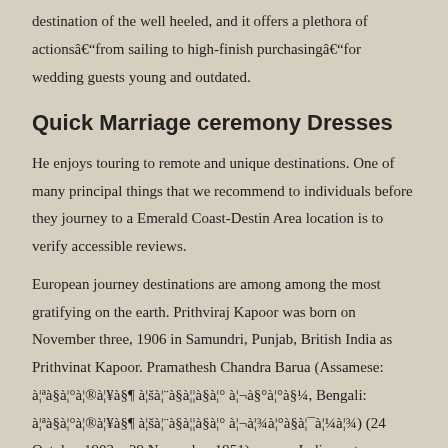destination of the well heeled, and it offers a plethora of actionsâ€“from sailing to high-finish purchasingâ€“for wedding guests young and outdated.
Quick Marriage ceremony Dresses
He enjoys touring to remote and unique destinations. One of many principal things that we recommend to individuals before they journey to a Emerald Coast-Destin Area location is to verify accessible reviews.
European journey destinations are among among the most gratifying on the earth. Prithviraj Kapoor was born on November three, 1906 in Samundri, Punjab, British India as Prithvinat Kapoor. Pramathesh Chandra Barua (Assamese: à¦ªà§à¦°à¦®à¦¥à§§ à¦à¦¨à§à¦¦à§à¦° à¦¬à§à¦¯à¦¾à¦°à§¼, Bengali: à¦ªà§à¦°à¦®à¦¥à§§ à¦à¦¨à§à¦¦à§à¦° à¦¬à¦¾à¦°à§à¦¯à¦¼à¦¾) (24 October 1903 – 29 November 1951) was an Indian actor, director, and screenwriter of Indian movies in